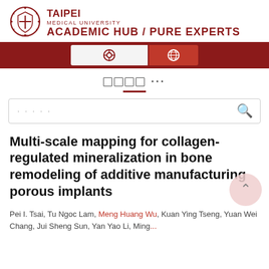[Figure (logo): Taipei Medical University circular seal/crest logo in dark red]
TAIPEI MEDICAL UNIVERSITY ACADEMIC HUB / PURE EXPERTS
[Figure (screenshot): Navigation bar with search box and globe icon buttons on dark red background]
[Figure (screenshot): Tab navigation row with square grid icons, ellipsis, and a red underline indicator, plus a search input bar]
Multi-scale mapping for collagen-regulated mineralization in bone remodeling of additive manufacturing porous implants
Pei I. Tsai, Tu Ngoc Lam, Meng Huang Wu, Kuan Ying Tseng, Yuan Wei Chang, Jui Sheng Sun, Yan Yao Li, Ming...